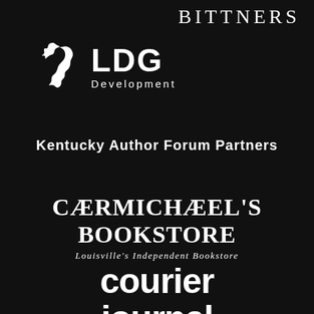[Figure (logo): BITTNERS text logo, partially cropped at top right, white serif uppercase lettering on black background]
[Figure (logo): LDG Development logo with white horse head silhouette icon on the left and bold white sans-serif text 'LDG' with 'Development' below in lighter weight on black background]
Kentucky Author Forum Partners
[Figure (logo): Carmichael's Bookstore logo with bold white serif uppercase text 'CARMICHAEL'S BOOKSTORE' and italic subtitle 'Louisville's Independent Bookstore' on black background]
[Figure (logo): Courier Journal logo in bold white sans-serif lowercase text on black background, partially cropped at bottom]